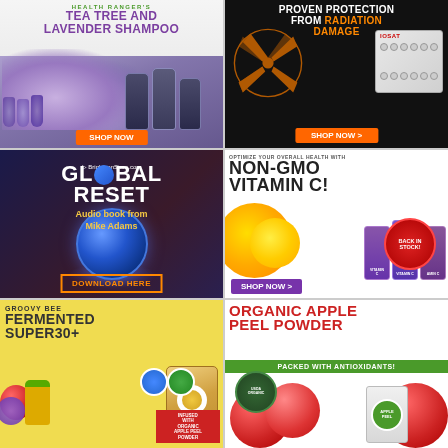[Figure (infographic): Health Ranger's Tea Tree and Lavender Shampoo ad with purple lavender flowers and product bottles, Shop Now button]
[Figure (infographic): Proven Protection from Radiation Damage ad with radioactive symbol and IOSAT pill pack on black background, Shop Now button]
[Figure (infographic): BrighteonStore.com Global Reset Audio book from Mike Adams ad with earth globe, Download Here button]
[Figure (infographic): Optimize Your Overall Health With Non-GMO Vitamin C! Back In Stock! ad with orange slices and vitamin bottles, Shop Now button]
[Figure (infographic): Groovy Bee Fermented Super30+ ad on yellow background with fruits and product bag, Infused With Organic Apple Peel Powder]
[Figure (infographic): Organic Apple Peel Powder Packed With Antioxidants! ad with USDA Organic seal and red apples]